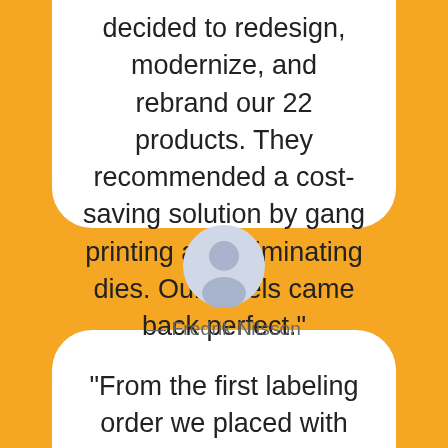decided to redesign, modernize, and rebrand our 22 products. They recommended a cost-saving solution by gang printing and eliminating dies. Our labels came back perfect."
[Figure (illustration): A generic user avatar icon — circular silhouette of a person with light blue/gray background]
— Fredrik Nilsson
"From the first labeling order we placed with Inovar 17